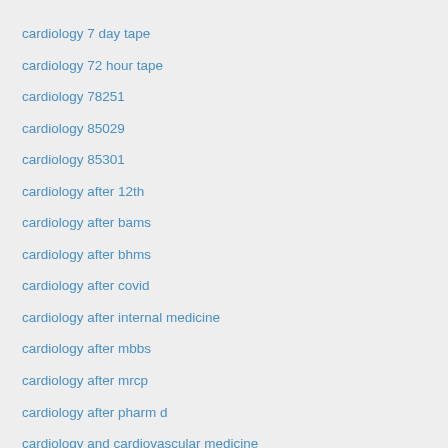cardiology 7 day tape
cardiology 72 hour tape
cardiology 78251
cardiology 85029
cardiology 85301
cardiology after 12th
cardiology after bams
cardiology after bhms
cardiology after covid
cardiology after internal medicine
cardiology after mbbs
cardiology after mrcp
cardiology after pharm d
cardiology and cardiovascular medicine
cardiology and internal medicine